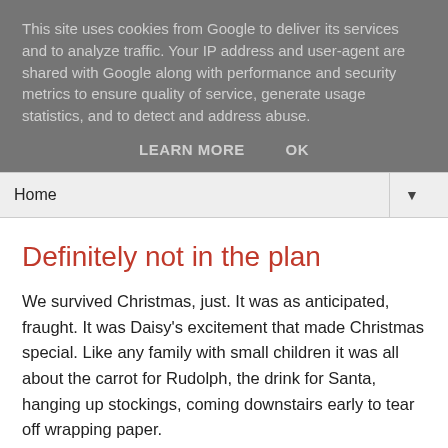This site uses cookies from Google to deliver its services and to analyze traffic. Your IP address and user-agent are shared with Google along with performance and security metrics to ensure quality of service, generate usage statistics, and to detect and address abuse.
LEARN MORE    OK
Home
Definitely not in the plan
We survived Christmas, just.  It was as anticipated, fraught.  It was Daisy's excitement that made Christmas special.  Like any family with small children it was all about the carrot for Rudolph, the drink for Santa, hanging up stockings, coming downstairs early to tear off wrapping paper.
You all know how much Daisy loved Christmas.  So her absence left a huge void.  Suddenly we were being forced to transition to a grown up Christmas, acutely aware of who